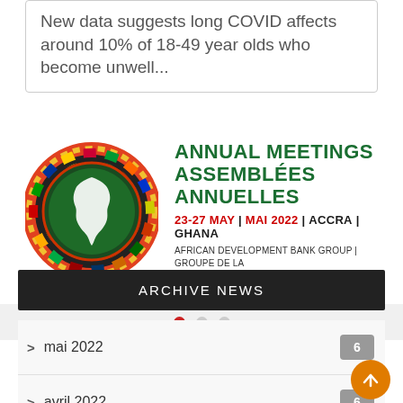New data suggests long COVID affects around 10% of 18-49 year olds who become unwell...
[Figure (logo): African Development Bank Group Annual Meetings 2022 circular logo with African continent and flags, alongside text: ANNUAL MEETINGS ASSEMBLÉES ANNUELLES 23-27 MAY | MAI 2022 | ACCRA | GHANA AFRICAN DEVELOPMENT BANK GROUP | GROUPE DE LA BANQUE AFRICAINE DE DÉVELOPPEMENT]
[Figure (other): Carousel navigation dots: one red active dot and two grey dots]
ARCHIVE NEWS
> mai 2022  6
> avril 2022  6
> mars 2022  1